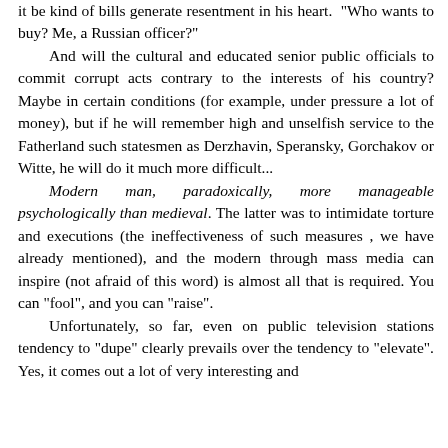it be kind of bills generate resentment in his heart. "Who wants to buy? Me, a Russian officer?"
        And will the cultural and educated senior public officials to commit corrupt acts contrary to the interests of his country? Maybe in certain conditions (for example, under pressure a lot of money), but if he will remember high and unselfish service to the Fatherland such statesmen as Derzhavin, Speransky, Gorchakov or Witte, he will do it much more difficult...
        Modern man, paradoxically, more manageable psychologically than medieval. The latter was to intimidate torture and executions (the ineffectiveness of such measures , we have already mentioned), and the modern through mass media can inspire (not afraid of this word) is almost all that is required. You can "fool", and you can "raise".
        Unfortunately, so far, even on public television stations tendency to "dupe" clearly prevails over the tendency to "elevate". Yes, it comes out a lot of very interesting and